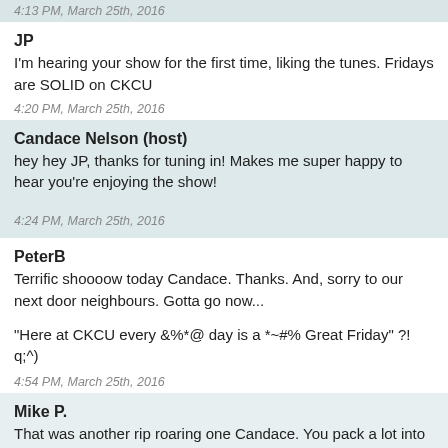4:13 PM, March 25th, 2016
JP
I'm hearing your show for the first time, liking the tunes. Fridays are SOLID on CKCU
4:20 PM, March 25th, 2016
Candace Nelson (host)
hey hey JP, thanks for tuning in! Makes me super happy to hear you're enjoying the show!
4:24 PM, March 25th, 2016
PeterB
Terrific shoooow today Candace. Thanks. And, sorry to our next door neighbours. Gotta go now...

"Here at CKCU every &%*@ day is a *~#% Great Friday" ?!  q;^)
4:54 PM, March 25th, 2016
Mike P.
That was another rip roaring one Candace. You pack a lot into this hour!